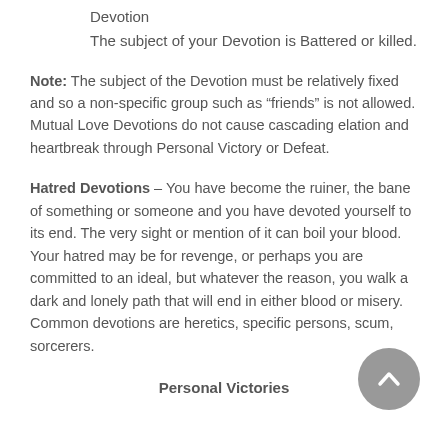Devotion
The subject of your Devotion is Battered or killed.
Note:  The subject of the Devotion must be relatively fixed and so a non-specific group such as “friends” is not allowed. Mutual Love Devotions do not cause cascading elation and heartbreak through Personal Victory or Defeat.
Hatred Devotions – You have become the ruiner, the bane of something or someone and you have devoted yourself to its end. The very sight or mention of it can boil your blood. Your hatred may be for revenge, or perhaps you are committed to an ideal, but whatever the reason, you walk a dark and lonely path that will end in either blood or misery.
Common devotions are heretics, specific persons, scum, sorcerers.
Personal Victories